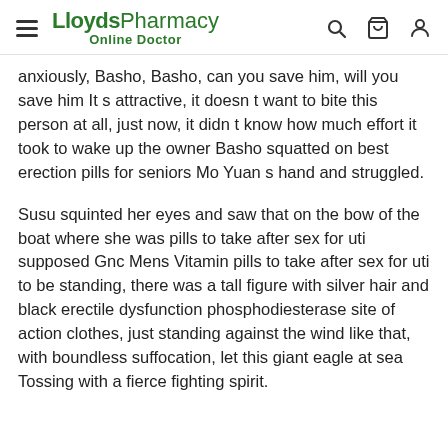LloydsPharmacy Online Doctor
anxiously, Basho, Basho, can you save him, will you save him It s attractive, it doesn t want to bite this person at all, just now, it didn t know how much effort it took to wake up the owner Basho squatted on best erection pills for seniors Mo Yuan s hand and struggled.
Susu squinted her eyes and saw that on the bow of the boat where she was pills to take after sex for uti supposed Gnc Mens Vitamin pills to take after sex for uti to be standing, there was a tall figure with silver hair and black erectile dysfunction phosphodiesterase site of action clothes, just standing against the wind like that, with boundless suffocation, let this giant eagle at sea Tossing with a fierce fighting spirit.